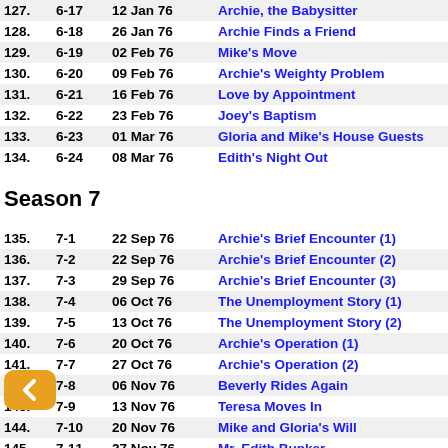127. 6-17 12 Jan 76 Archie, the Babysitter
128. 6-18 26 Jan 76 Archie Finds a Friend
129. 6-19 02 Feb 76 Mike's Move
130. 6-20 09 Feb 76 Archie's Weighty Problem
131. 6-21 16 Feb 76 Love by Appointment
132. 6-22 23 Feb 76 Joey's Baptism
133. 6-23 01 Mar 76 Gloria and Mike's House Guests
134. 6-24 08 Mar 76 Edith's Night Out
Season 7
135. 7-1 22 Sep 76 Archie's Brief Encounter (1)
136. 7-2 22 Sep 76 Archie's Brief Encounter (2)
137. 7-3 29 Sep 76 Archie's Brief Encounter (3)
138. 7-4 06 Oct 76 The Unemployment Story (1)
139. 7-5 13 Oct 76 The Unemployment Story (2)
140. 7-6 20 Oct 76 Archie's Operation (1)
141. 7-7 27 Oct 76 Archie's Operation (2)
142. 7-8 06 Nov 76 Beverly Rides Again
143. 7-9 13 Nov 76 Teresa Moves In
144. 7-10 20 Nov 76 Mike and Gloria's Will
145. 7-11 27 Nov 76 Mr. Edith Bunker
146. 7-12 04 Dec 76 Archie's Secret Passion